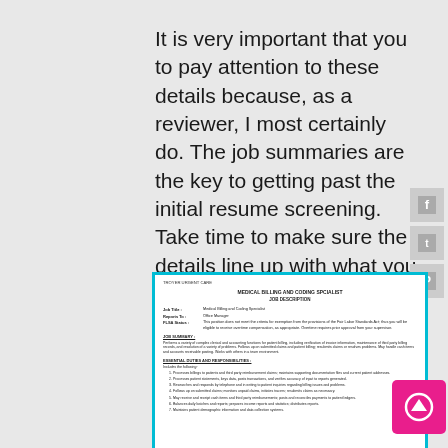It is very important that you to pay attention to these details because, as a reviewer, I most certainly do. The job summaries are the key to getting past the initial resume screening. Take time to make sure the details line up with what you said in your experience summary and technical skills list.
[Figure (other): Facebook, Twitter, Pinterest social share icons on the right side]
[Figure (screenshot): Document screenshot: Troyer Urgent Care - Medical Billing and Coding Specialist Job Description. Includes Job Title: Medical Billing and Coding Specialist, Reports To: Office Manager, FLSA Status note, JOB SUMMARY section describing clerical and accounting functions for patient billing, ESSENTIAL DUTIES AND RESPONSIBILITIES section with numbered list items including: processing billings, processing patient statements, researching and responding to billing inquiries, following up on submitted claims, receiving cash items, balancing daily batches, and maintaining patient demographic information.]